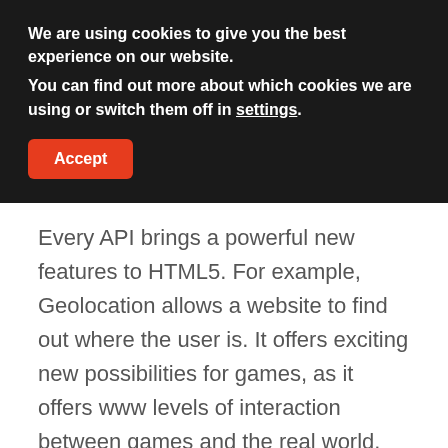We are using cookies to give you the best experience on our website.
You can find out more about which cookies we are using or switch them off in settings.
Accept
Every API brings a powerful new features to HTML5. For example, Geolocation allows a website to find out where the user is. It offers exciting new possibilities for games, as it offers www levels of interaction between games and the real world. There are many other potential applications of this